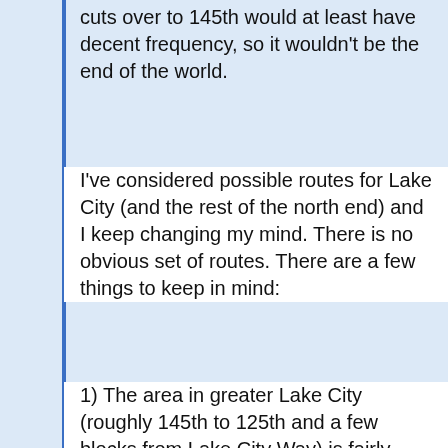cuts over to 145th would at least have decent frequency, so it wouldn't be the end of the world.
I've considered possible routes for Lake City (and the rest of the north end) and I keep changing my mind. There is no obvious set of routes. There are a few things to keep in mind:
1) The area in greater Lake City (roughly 145th to 125th and a few blocks from Lake City Way) is fairly dense and growing. But the areas outside it are not. The density flows a few blocks, but then ends fairly quickly in most directions, but especially to the east and north. If you look at the